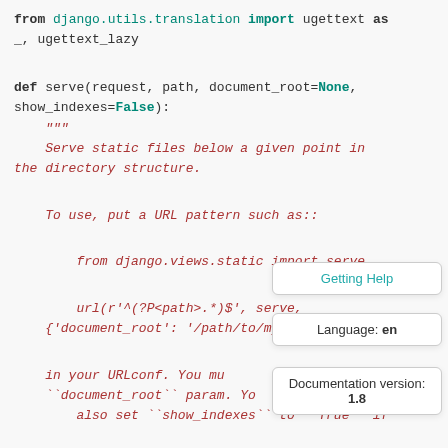from django.utils.translation import ugettext as _, ugettext_lazy

def serve(request, path, document_root=None,
show_indexes=False):
    """
    Serve static files below a given point in the directory structure.

    To use, put a URL pattern such as::

        from django.views.static import serve

        url(r'^(?P<path>.*)$', serve,
    {'document_root': '/path/to/my/files/

    in your URLconf. You mu
    ``document_root`` param. Yo
        also set ``show_indexes`` to ``True`` if
Getting Help
Language: en
Documentation version: 1.8